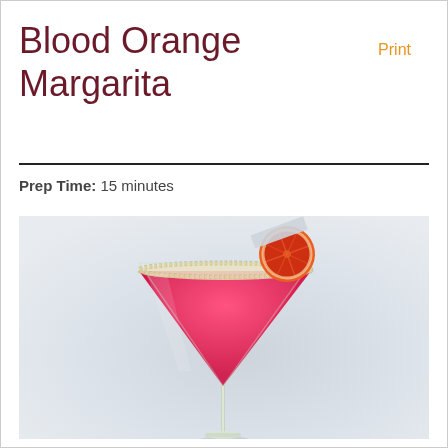Blood Orange Margarita
Print
Prep Time: 15 minutes
[Figure (photo): A martini glass filled with vibrant pink/red blood orange margarita cocktail, rimmed with sugar/salt crystals, garnished with a blood orange slice. White/light grey background.]